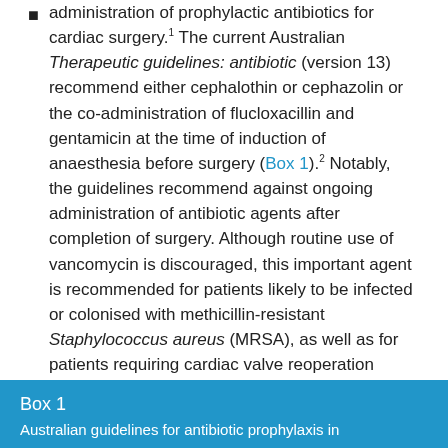administration of prophylactic antibiotics for cardiac surgery.1 The current Australian Therapeutic guidelines: antibiotic (version 13) recommend either cephalothin or cephazolin or the co-administration of flucloxacillin and gentamicin at the time of induction of anaesthesia before surgery (Box 1).2 Notably, the guidelines recommend against ongoing administration of antibiotic agents after completion of surgery. Although routine use of vancomycin is discouraged, this important agent is recommended for patients likely to be infected or colonised with methicillin-resistant Staphylococcus aureus (MRSA), as well as for patients requiring cardiac valve reoperation (return to theatre or revision) or in patients hypersensitive to penicillins or cephalosporins.
Box 1
Australian guidelines for antibiotic prophylaxis in...